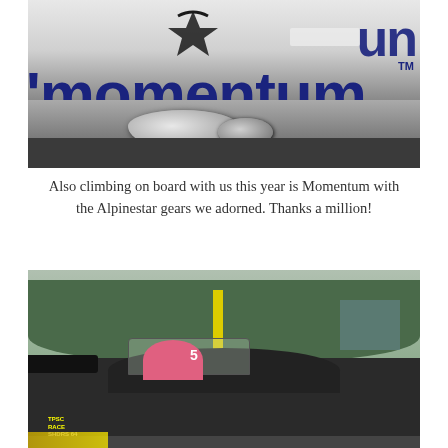[Figure (photo): Close-up photo showing a momentum branded sticker/banner in dark blue with 'momentum' text and an Alpinestars logo sticker above, along with a chrome door handle visible at the bottom of the frame.]
Also climbing on board with us this year is Momentum with the Alpinestar gears we adorned. Thanks a million!
[Figure (photo): Photo of a racing car (dark/black) with a driver inside wearing pink, sitting on what appears to be a race track or paddock area. Sponsor banners visible including DRIVE, Achilles, ESPN, and others. Trees and buildings visible in the background. The car has a spoiler wing and racing number 5. Stickers visible on the lower part of the car including 'TPSC' and 'SHDRS 64'.]